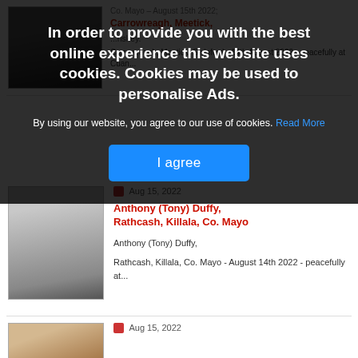In order to provide you with the best online experience this website uses cookies. Cookies may be used to personalise Ads.
By using our website, you agree to our use of cookies. Read More
I agree
[Figure (photo): Partial photo of a person, partially obscured by cookie consent overlay]
Co. Mayo - August 15th 2022;
Carrowreagh, Meetick,
...nskey.
Carrowreagh, Meetick, Swinford - 14th August 2022 - peacefully at Cuan...
[Figure (photo): Portrait photo of an older man, Anthony (Tony) Duffy]
Aug 15, 2022
Anthony (Tony) Duffy, Rathcash, Killala, Co. Mayo
Anthony (Tony) Duffy,
Rathcash, Killala, Co. Mayo - August 14th 2022 - peacefully at...
[Figure (photo): Partial photo of another person at bottom of page]
Aug 15, 2022